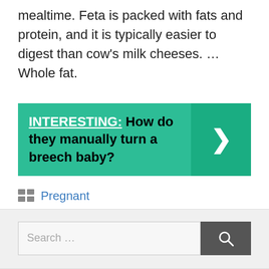mealtime. Feta is packed with fats and protein, and it is typically easier to digest than cow's milk cheeses. … Whole fat.
[Figure (infographic): Green banner with 'INTERESTING: How do they manually turn a breech baby?' text on the left and a right-pointing arrow chevron on the right, in a darker green box.]
Pregnant
[Figure (screenshot): Search bar with placeholder text 'Search …' and a dark gray search button with magnifying glass icon.]
From me